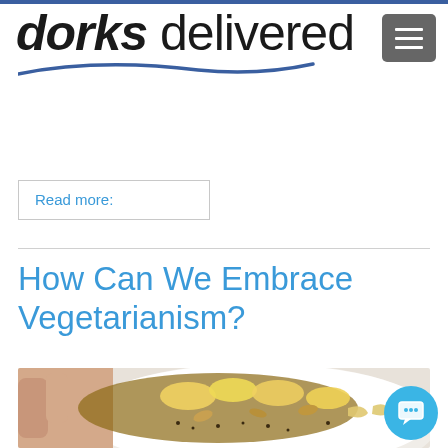dorks delivered
Read more:
How Can We Embrace Vegetarianism?
[Figure (photo): Overhead view of a white bowl filled with granola, banana slices, almonds, cashews, seeds, and other toppings, held by a hand from the left side]